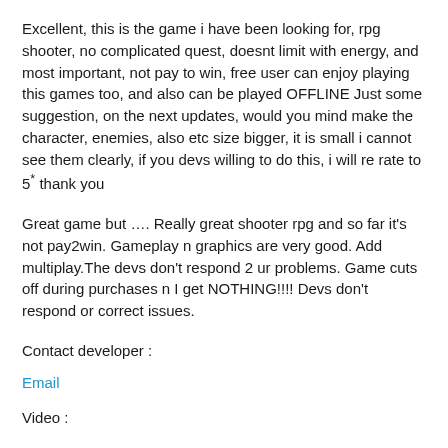Excellent, this is the game i have been looking for, rpg shooter, no complicated quest, doesnt limit with energy, and most important, not pay to win, free user can enjoy playing this games too, and also can be played OFFLINE Just some suggestion, on the next updates, would you mind make the character, enemies, also etc size bigger, it is small i cannot see them clearly, if you devs willing to do this, i will re rate to 5* thank you
Great game but …. Really great shooter rpg and so far it's not pay2win. Gameplay n graphics are very good. Add multiplay.The devs don't respond 2 ur problems. Game cuts off during purchases n I get NOTHING!!!! Devs don't respond or correct issues.
Contact developer :
Email
Video :